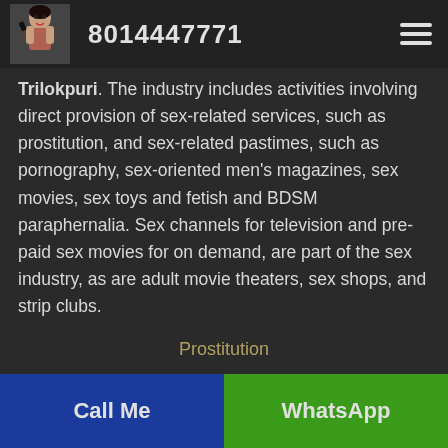8014447771
Trilokpuri. The industry includes activities involving direct provision of sex-related services, such as prostitution, and sex-related pastimes, such as pornography, sex-oriented men's magazines, sex movies, sex toys and fetish and BDSM paraphernalia. Sex channels for television and pre-paid sex movies for on demand, are part of the sex industry, as are adult movie theaters, sex shops, and strip clubs.
Prostitution
Call Me | WhatsApp